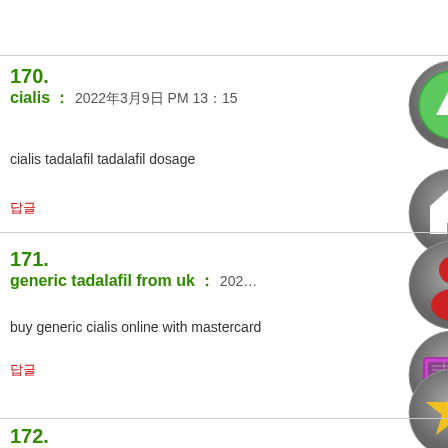170. cialis : 2022年3月9日 PM 13:15
cialis tadalafil tadalafil dosage
답글
171. generic tadalafil from uk : 202...
buy generic cialis online with mastercard
답글
172.